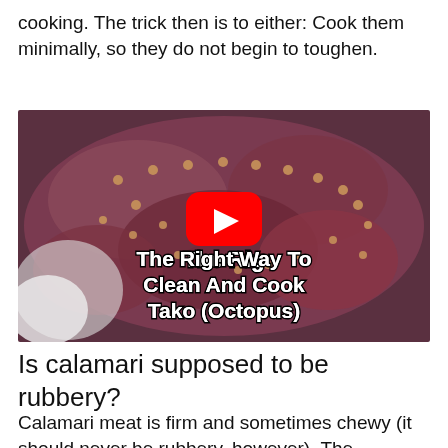cooking. The trick then is to either: Cook them minimally, so they do not begin to toughen.
[Figure (screenshot): YouTube video thumbnail showing cooked octopus tentacles with suction cups, with a red YouTube play button overlay and white bold text reading 'The Right Way To Clean And Cook Tako (Octopus)']
Is calamari supposed to be rubbery?
Calamari meat is firm and sometimes chewy (it should never be rubbery, however). The